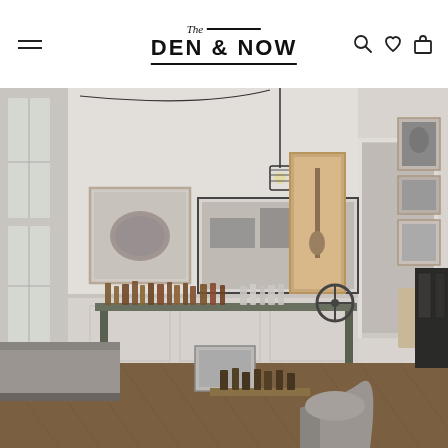The Den & Now — navigation header with logo, hamburger menu, search, wishlist, and cart icons
[Figure (photo): Interior of The Den & Now store showing a Scandinavian-style retail space with high white ceilings, ornate moldings, wood parquet herringbone floor, a large industrial counter/table with amber glass bottles and products, framed artwork and photographs on walls, a pendant cage light fixture, a grey upholstered bench sofa on the left, a modern curved chair in the foreground right, and a corridor leading to another room in the background.]